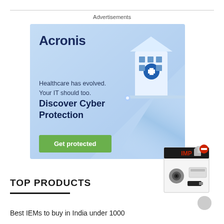Advertisements
[Figure (illustration): Acronis advertisement banner with light blue gradient background, Acronis logo, healthcare cyber protection tagline, bold headline 'Discover Cyber Protection', green 'Get protected' button, and isometric hospital building illustration on the right side.]
[Figure (photo): Product box image showing electronics/home appliances bundle with a red minus icon overlay in the top-right corner.]
TOP PRODUCTS
Best IEMs to buy in India under 1000